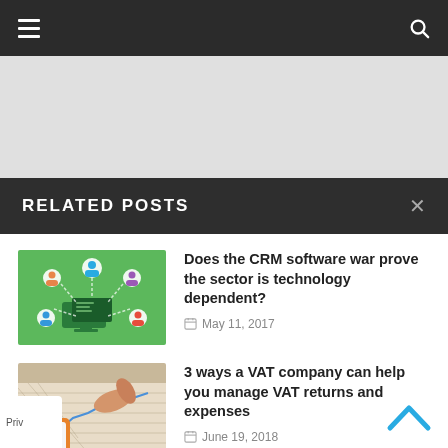Navigation bar with hamburger menu and search icon
RELATED POSTS
[Figure (screenshot): CRM software infographic showing a laptop connected to user icons via dashed lines on a green background]
Does the CRM software war prove the sector is technology dependent?
May 11, 2017
[Figure (photo): Photo of a hand pointing at a financial chart on paper next to a smartphone with an orange case]
3 ways a VAT company can help you manage VAT returns and expenses
June 19, 2018